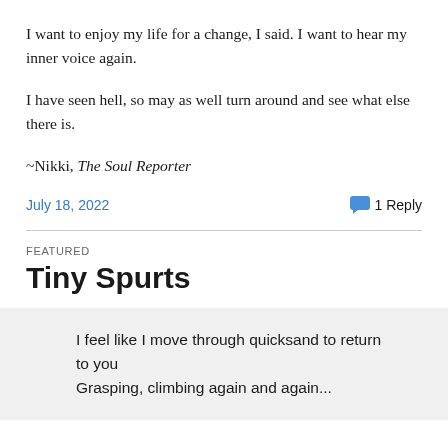I want to enjoy my life for a change, I said. I want to hear my inner voice again.
I have seen hell, so may as well turn around and see what else there is.
~Nikki, The Soul Reporter
July 18, 2022   1 Reply
FEATURED
Tiny Spurts
I feel like I move through quicksand to return to you Grasping, climbing again and again...